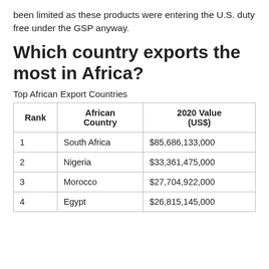been limited as these products were entering the U.S. duty free under the GSP anyway.
Which country exports the most in Africa?
Top African Export Countries
| Rank | African Country | 2020 Value (US$) |
| --- | --- | --- |
| 1 | South Africa | $85,686,133,000 |
| 2 | Nigeria | $33,361,475,000 |
| 3 | Morocco | $27,704,922,000 |
| 4 | Egypt | $26,815,145,000 |